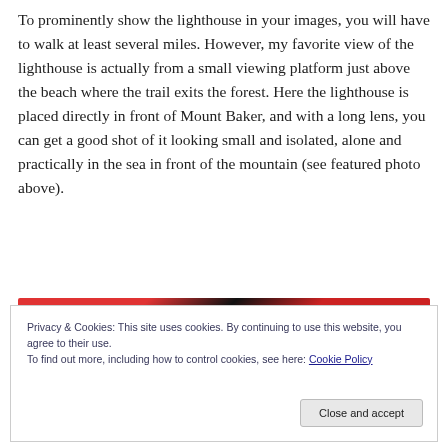To prominently show the lighthouse in your images, you will have to walk at least several miles. However, my favorite view of the lighthouse is actually from a small viewing platform just above the beach where the trail exits the forest. Here the lighthouse is placed directly in front of Mount Baker, and with a long lens, you can get a good shot of it looking small and isolated, alone and practically in the sea in front of the mountain (see featured photo above).
[Figure (photo): Partial view of a photo showing a red and black object, partially visible behind the cookie consent banner.]
Privacy & Cookies: This site uses cookies. By continuing to use this website, you agree to their use.
To find out more, including how to control cookies, see here: Cookie Policy